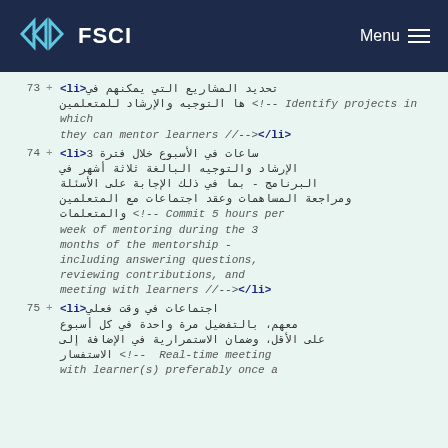FSCI Menu
<li>[Arabic text] <!-- Identify projects in which they can mentor learners //--></li>
<li>3 [Arabic text] <!-- Commit 5 hours per week of mentoring during the 3 months of the mentorship - including answering questions, reviewing contributions, and meeting with learners //--></li>
<li>[Arabic text] <!-- Real-time meeting with learner(s) preferably once a